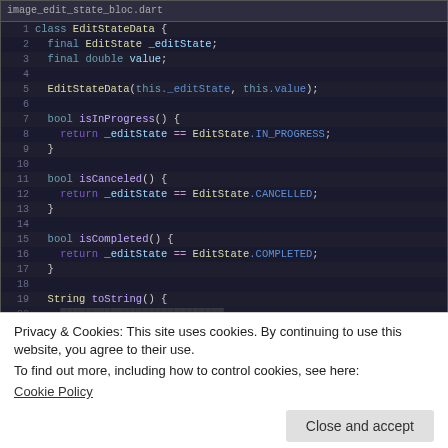[Figure (screenshot): Code editor screenshot showing Dart class EditStateData with line numbers 1-19, syntax highlighted code in dark theme]
Privacy & Cookies: This site uses cookies. By continuing to use this website, you agree to their use.
To find out more, including how to control cookies, see here:
Cookie Policy
Close and accept